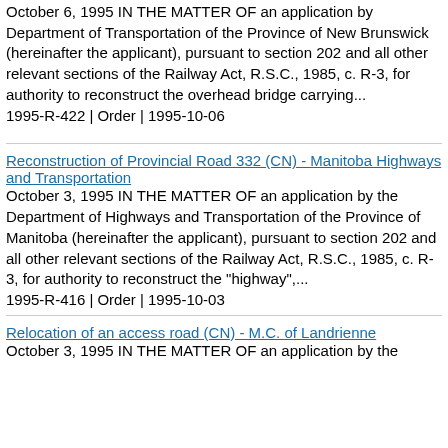October 6, 1995 IN THE MATTER OF an application by Department of Transportation of the Province of New Brunswick (hereinafter the applicant), pursuant to section 202 and all other relevant sections of the Railway Act, R.S.C., 1985, c. R-3, for authority to reconstruct the overhead bridge carrying...
1995-R-422 | Order | 1995-10-06
Reconstruction of Provincial Road 332 (CN) - Manitoba Highways and Transportation
October 3, 1995 IN THE MATTER OF an application by the Department of Highways and Transportation of the Province of Manitoba (hereinafter the applicant), pursuant to section 202 and all other relevant sections of the Railway Act, R.S.C., 1985, c. R-3, for authority to reconstruct the "highway",...
Relocation of an access road (CN) - M.C. of Landrienne
October 3, 1995 IN THE MATTER OF an application by the